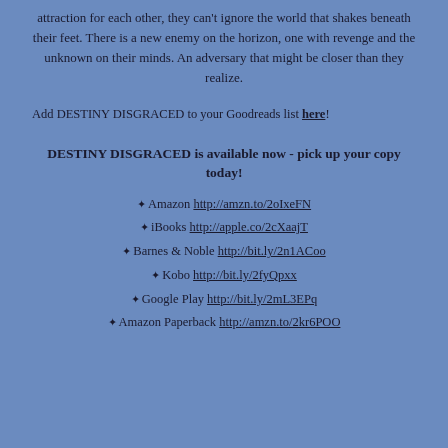attraction for each other, they can't ignore the world that shakes beneath their feet. There is a new enemy on the horizon, one with revenge and the unknown on their minds. An adversary that might be closer than they realize.
Add DESTINY DISGRACED to your Goodreads list here!
DESTINY DISGRACED is available now - pick up your copy today!
Amazon http://amzn.to/2oIxeFN
iBooks http://apple.co/2cXaajT
Barnes & Noble http://bit.ly/2n1ACoo
Kobo http://bit.ly/2fyQpxx
Google Play http://bit.ly/2mL3EPq
Amazon Paperback http://amzn.to/2kr6POO